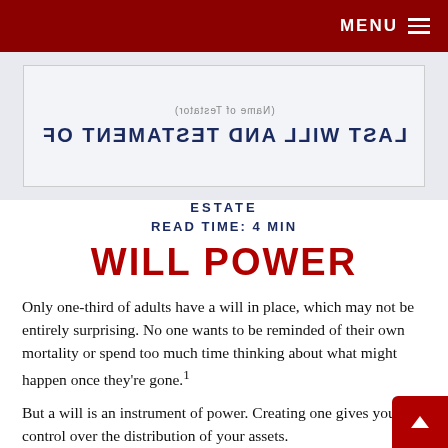MENU ☰
[Figure (photo): Upside-down image of a will document showing 'LAST WILL AND TESTAMENT OF' text and a signature line reading '(Name of Testator)']
ESTATE
READ TIME: 4 MIN
WILL POWER
Only one-third of adults have a will in place, which may not be entirely surprising. No one wants to be reminded of their own mortality or spend too much time thinking about what might happen once they're gone.1
But a will is an instrument of power. Creating one gives you control over the distribution of your assets.